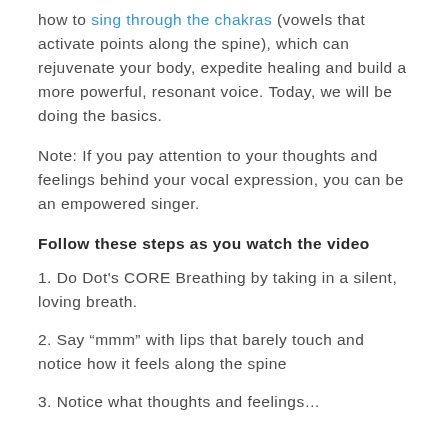how to sing through the chakras (vowels that activate points along the spine), which can rejuvenate your body, expedite healing and build a more powerful, resonant voice. Today, we will be doing the basics.
Note: If you pay attention to your thoughts and feelings behind your vocal expression, you can be an empowered singer.
Follow these steps as you watch the video
1. Do Dot's CORE Breathing by taking in a silent, loving breath.
2. Say “mmm” with lips that barely touch and notice how it feels along the spine
3. Notice what thoughts and feelings…